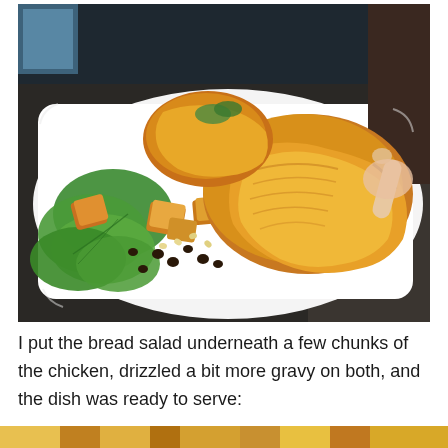[Figure (photo): A white rectangular plate holding roasted golden-brown chicken pieces alongside a bread salad with green lettuce leaves, croutons, pine nuts, and raisins. The plate is set on a dark countertop.]
I put the bread salad underneath a few chunks of the chicken, drizzled a bit more gravy on both, and the dish was ready to serve:
[Figure (photo): Bottom strip of another food photo, partially visible, showing colorful dish.]